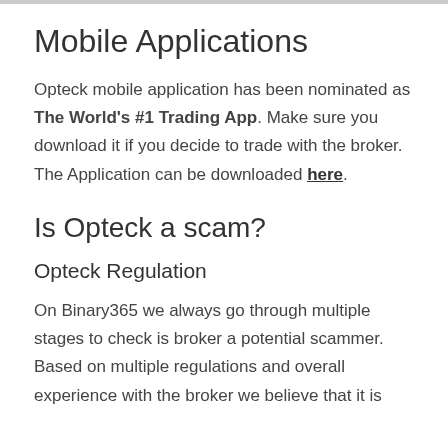Mobile Applications
Opteck mobile application has been nominated as The World's #1 Trading App. Make sure you download it if you decide to trade with the broker. The Application can be downloaded here.
Is Opteck a scam?
Opteck Regulation
On Binary365 we always go through multiple stages to check is broker a potential scammer. Based on multiple regulations and overall experience with the broker we believe that it is